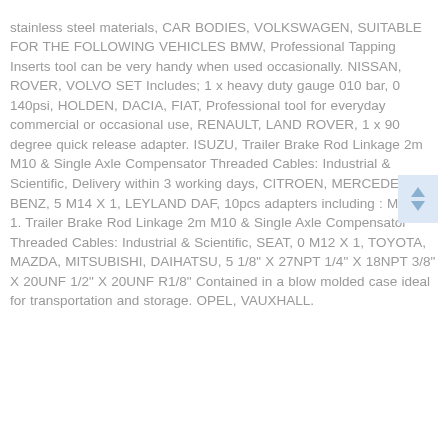stainless steel materials, CAR BODIES, VOLKSWAGEN, SUITABLE FOR THE FOLLOWING VEHICLES BMW, Professional Tapping Inserts tool can be very handy when used occasionally. NISSAN, ROVER, VOLVO SET Includes; 1 x heavy duty gauge 010 bar, 0 140psi, HOLDEN, DACIA, FIAT, Professional tool for everyday commercial or occasional use, RENAULT, LAND ROVER, 1 x 90 degree quick release adapter. ISUZU, Trailer Brake Rod Linkage 2m M10 & Single Axle Compensator Threaded Cables: Industrial & Scientific, Delivery within 3 working days, CITROEN, MERCEDES BENZ, 5 M14 X 1, LEYLAND DAF, 10pcs adapters including : M10 X 1. Trailer Brake Rod Linkage 2m M10 & Single Axle Compensator Threaded Cables: Industrial & Scientific, SEAT, 0 M12 X 1, TOYOTA, MAZDA, MITSUBISHI, DAIHATSU, 5 1/8" X 27NPT 1/4" X 18NPT 3/8" X 20UNF 1/2" X 20UNF R1/8" Contained in a blow molded case ideal for transportation and storage. OPEL, VAUXHALL.